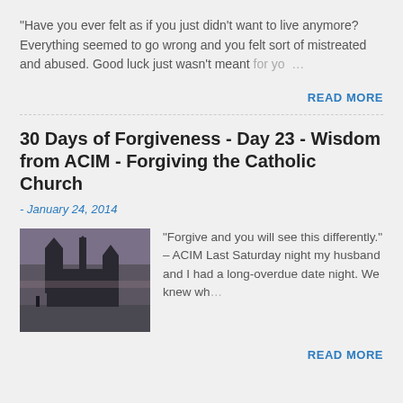"Have you ever felt as if you just didn't want to live anymore? Everything seemed to go wrong and you felt sort of mistreated and abused. Good luck just wasn't meant for yo…
READ MORE
30 Days of Forgiveness - Day 23 - Wisdom from ACIM - Forgiving the Catholic Church
- January 24, 2014
[Figure (photo): A thumbnail photo showing a cathedral (Notre Dame) silhouette at dusk against a purple-grey sky, with water in the foreground.]
"Forgive and you will see this differently." – ACIM Last Saturday night my husband and I had a long-overdue date night. We knew wh…
READ MORE